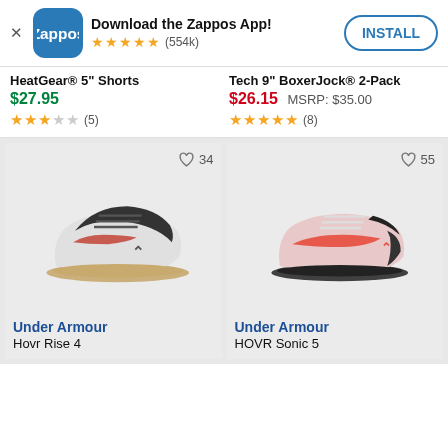[Figure (screenshot): Zappos app install banner with logo, 5-star rating (554k reviews), and INSTALL button]
HeatGear® 5" Shorts
$27.95
★★★☆☆ (5)
Tech 9" BoxerJock® 2-Pack
$26.15  MSRP: $35.00
★★★★★ (8)
[Figure (photo): Under Armour Hovr Rise 4 grey/black sneaker with gum sole, heart icon with 34 likes]
[Figure (photo): Under Armour HOVR Sonic 5 pink/red/black sneaker, heart icon with 55 likes]
Under Armour
Hovr Rise 4
Under Armour
HOVR Sonic 5